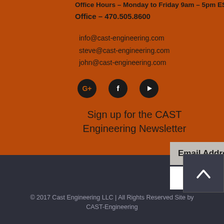Office Hours - Monday to Friday 9am - 5pm EST
Office - 470.505.8600
info@cast-engineering.com
steve@cast-engineering.com
john@cast-engineering.com
[Figure (illustration): Social media icons: Google+, Facebook, YouTube — dark circles on orange background]
Sign up for the CAST Engineering Newsletter
Email Address
Subscribe Now
[Figure (illustration): Back to top button with upward chevron arrow, dark square box]
© 2017 Cast Engineering LLC | All Rights Reserved Site by CAST-Engineering